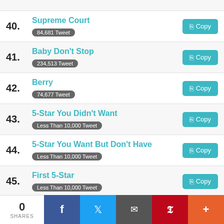40. Supreme Court — 84,681 Tweet
41. Baby Don't Stop — 234,513 Tweet
42. Berry — 74,677 Tweet
43. 5-Star You Didn't Want — Less Than 10,000 Tweet
44. 5-Star You Want But Don't Have — Less Than 10,000 Tweet
45. First 5-Star — Less Than 10,000 Tweet
46. Recent 5-Star
0 SHARES | Facebook | Twitter | Email | Pinterest | More